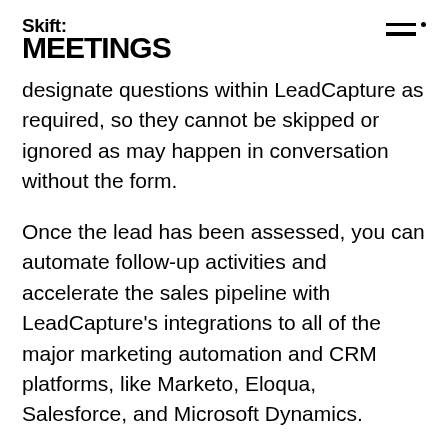Skift MEETINGS
designate questions within LeadCapture as required, so they cannot be skipped or ignored as may happen in conversation without the form.
Once the lead has been assessed, you can automate follow-up activities and accelerate the sales pipeline with LeadCapture’s integrations to all of the major marketing automation and CRM platforms, like Marketo, Eloqua, Salesforce, and Microsoft Dynamics.
The data is shared with sales teams at the office in real time, so they don’t have to wait for someone at the event to phone it in or return